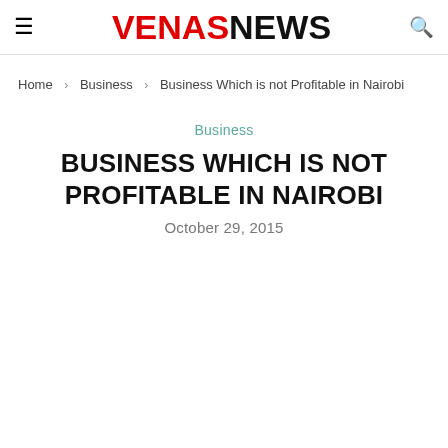VENASNEWS
Home > Business > Business Which is not Profitable in Nairobi
Business
BUSINESS WHICH IS NOT PROFITABLE IN NAIROBI
October 29, 2015